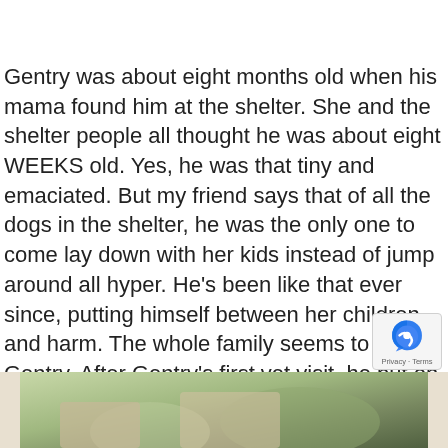Gentry was about eight months old when his mama found him at the shelter. She and the shelter people all thought he was about eight WEEKS old. Yes, he was that tiny and emaciated. But my friend says that of all the dogs in the shelter, he was the only one to come lay down with her kids instead of jump around all hyper. He's been like that ever since, putting himself between her children and harm. The whole family seems to adore Gentry. After Gentry's first vet visit, he put on a pound a day for a month. I think he's probably about a hundred pounds of beauty now. And he loves Jones Pumpers. Mmmm. Pig hearts.
[Figure (photo): Bottom portion of a photo showing outdoor scene, partially visible at the bottom of the page]